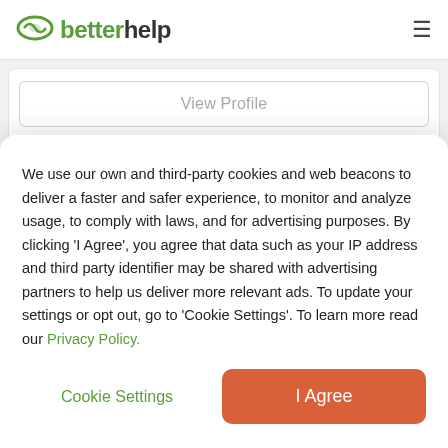betterhelp
View Profile
Ophelia Bates - One Of Many
We use our own and third-party cookies and web beacons to deliver a faster and safer experience, to monitor and analyze usage, to comply with laws, and for advertising purposes. By clicking 'I Agree', you agree that data such as your IP address and third party identifier may be shared with advertising partners to help us deliver more relevant ads. To update your settings or opt out, go to 'Cookie Settings'. To learn more read our Privacy Policy.
Cookie Settings
I Agree